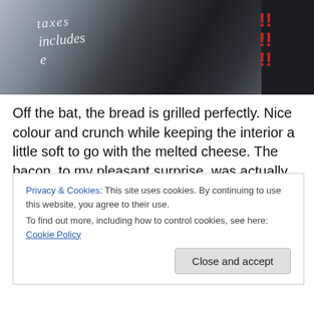[Figure (photo): Close-up photo of a dark surface with cursive white text reading 'taxes incluses' and other script, with red text visible on the right side.]
Off the bat, the bread is grilled perfectly. Nice colour and crunch while keeping the interior a little soft to go with the melted cheese. The bacon, to my pleasant surprise, was actually thick-cut bacon and not overly crispy so it added a nice fattiness to the sandwich. The cheese was warm and melted all the way through but maintained some thickness
Privacy & Cookies: This site uses cookies. By continuing to use this website, you agree to their use.
To find out more, including how to control cookies, see here: Cookie Policy
Close and accept